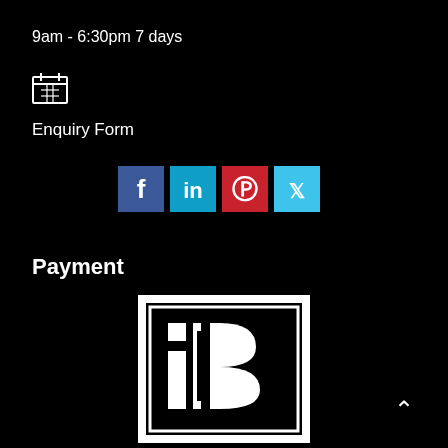9am - 6:30pm 7 days
[Figure (other): Calendar/table icon in white outline style]
Enquiry Form
[Figure (other): Social media buttons: Facebook (dark blue), LinkedIn (light blue), Pinterest (red), Twitter (light blue)]
Payment
[Figure (logo): Black and white payment logo with letter B and bracket design inside a bordered rectangle frame]